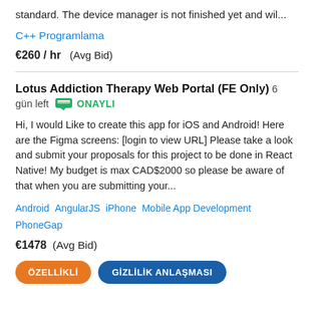standard. The device manager is not finished yet and wil...
C++ Programlama
€260 / hr   (Avg Bid)
Lotus Addiction Therapy Web Portal (FE Only)  6 gün left   ONAYLI
Hi, I would Like to create this app for iOS and Android! Here are the Figma screens: [login to view URL] Please take a look and submit your proposals for this project to be done in React Native! My budget is max CAD$2000 so please be aware of that when you are submitting your...
Android   AngularJS   iPhone   Mobile App Development   PhoneGap
€1478   (Avg Bid)
ÖZELLİKLİ   GİZLİLİK ANLAŞMASI